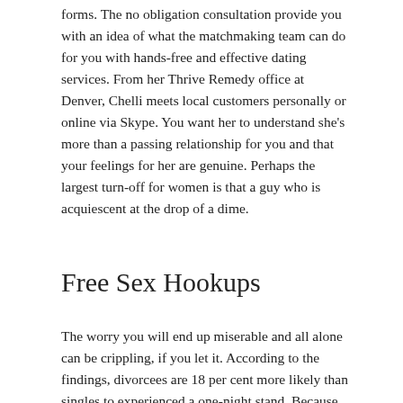forms. The no obligation consultation provide you with an idea of what the matchmaking team can do for you with hands-free and effective dating services. From her Thrive Remedy office at Denver, Chelli meets local customers personally or online via Skype. You want her to understand she's more than a passing relationship for you and that your feelings for her are genuine. Perhaps the largest turn-off for women is that a guy who is acquiescent at the drop of a dime.
Free Sex Hookups
The worry you will end up miserable and all alone can be crippling, if you let it. According to the findings, divorcees are 18 per cent more likely than singles to experienced a one-night stand. Because the desire to change one's past and falling in love are all tightly connected. Disclosing a high level of personal information online, aside from whether the advice is connected to your